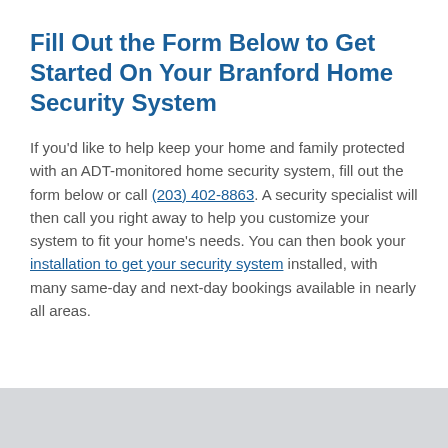Fill Out the Form Below to Get Started On Your Branford Home Security System
If you'd like to help keep your home and family protected with an ADT-monitored home security system, fill out the form below or call (203) 402-8863. A security specialist will then call you right away to help you customize your system to fit your home's needs. You can then book your installation to get your security system installed, with many same-day and next-day bookings available in nearly all areas.